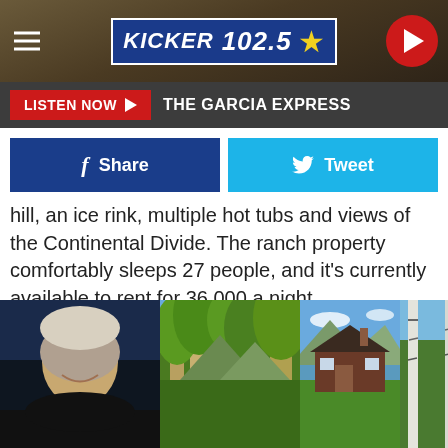KICKER 102.5
LISTEN NOW ▶  THE GARCIA EXPRESS
[Figure (screenshot): Facebook Share and Twitter Tweet social sharing buttons]
hill, an ice rink, multiple hot tubs and views of the Continental Divide. The ranch property comfortably sleeps 27 people, and it's currently available to rent for 36,000 a night.
Gallery Credit: Sterling Whitaker
[Figure (photo): Photo strip showing Kevin Costner headshot on left, trees/property photos in center and right]